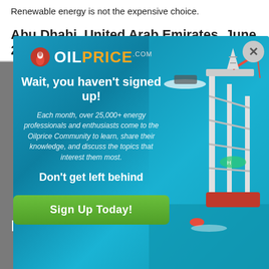Renewable energy is not the expensive choice.
Abu Dhabi, United Arab Emirates, June 22
[Figure (screenshot): OilPrice.com modal popup advertisement over an ocean oil rig background. Contains logo, headline 'Wait, you haven't signed up!', body text about 25,000+ energy professionals, subheadline 'Don't get left behind', and a green 'Sign Up Today!' button. Close (X) button in top right.]
optinmonster
Full speed ahead!